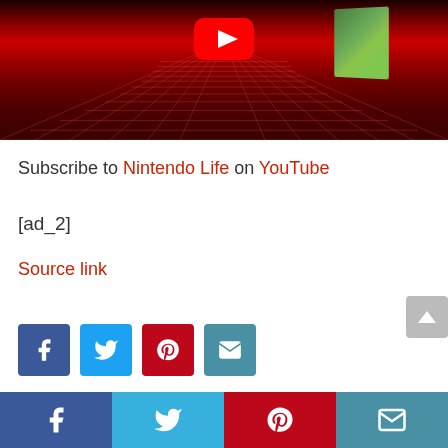[Figure (screenshot): YouTube video thumbnail with red gradient background and grid perspective lines, YouTube logo at top center, small green game image thumbnail to the right]
Subscribe to Nintendo Life on YouTube
[ad_2]
Source link
[Figure (infographic): Row of social share buttons: Facebook (blue), Twitter (light blue), Pinterest (red), Email (teal)]
[Figure (infographic): Bottom bar with four social media icons: Facebook, Twitter, Pinterest, Email]